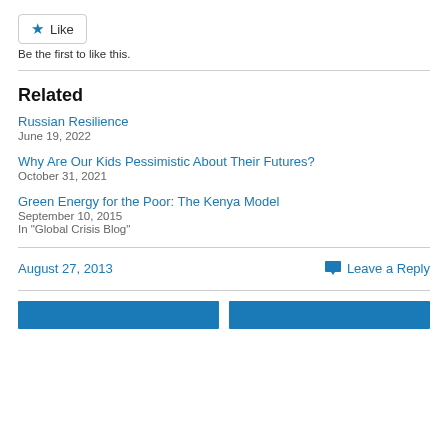Like
Be the first to like this.
Related
Russian Resilience
June 19, 2022
Why Are Our Kids Pessimistic About Their Futures?
October 31, 2021
Green Energy for the Poor: The Kenya Model
September 10, 2015
In "Global Crisis Blog"
August 27, 2013
Leave a Reply